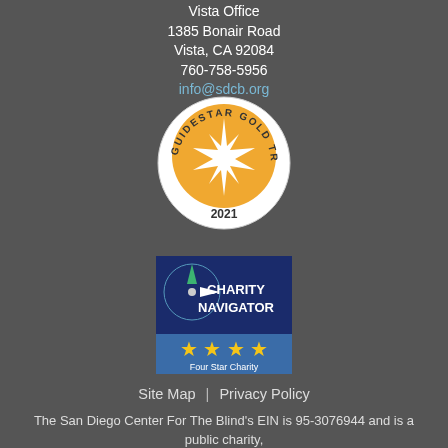Vista Office
1385 Bonair Road
Vista, CA 92084
760-758-5956
info@sdcb.org
[Figure (logo): GuideStar Gold Transparency 2021 seal - circular badge with orange background, white star in center, text around border]
[Figure (logo): Charity Navigator Four Star Charity badge - dark blue rectangle with compass star logo and four yellow stars]
Site Map  |  Privacy Policy
The San Diego Center For The Blind's EIN is 95-3076944 and is a public charity, exempt from federal income tax under section 501(c)(3).